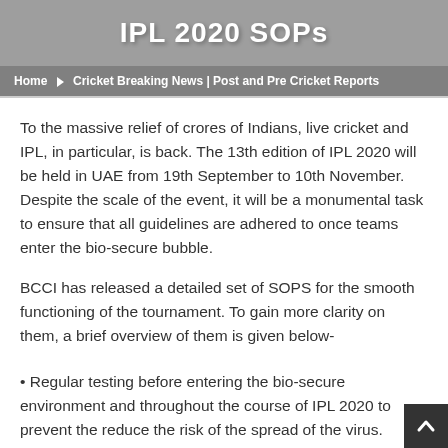IPL 2020 SOPs
Home ▶ Cricket Breaking News | Post and Pre Cricket Reports
To the massive relief of crores of Indians, live cricket and IPL, in particular, is back. The 13th edition of IPL 2020 will be held in UAE from 19th September to 10th November. Despite the scale of the event, it will be a monumental task to ensure that all guidelines are adhered to once teams enter the bio-secure bubble.
BCCI has released a detailed set of SOPS for the smooth functioning of the tournament. To gain more clarity on them, a brief overview of them is given below-
• Regular testing before entering the bio-secure environment and throughout the course of IPL 2020 to prevent the reduce the risk of the spread of the virus.